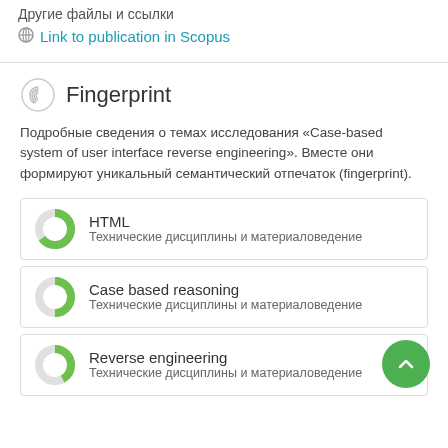Другие файлы и ссылки
Link to publication in Scopus
Fingerprint
Подробные сведения о темах исследования «Case-based system of user interface reverse engineering». Вместе они формируют уникальный семантический отпечаток (fingerprint).
[Figure (donut-chart): HTML donut chart - Технические дисциплины и материаловедение]
[Figure (donut-chart): Case based reasoning donut chart - Технические дисциплины и материаловедение]
[Figure (donut-chart): Reverse engineering donut chart - Технические дисциплины и материаловедение]